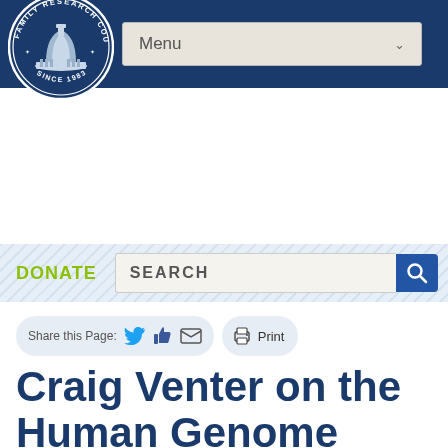[Figure (logo): Family Research Council logo — circular emblem with US Capitol building, text 'FAMILY RESEARCH COUNCIL' and 'SINCE 1983' on dark blue background]
Menu
DONATE
SEARCH
Share this Page:  Print
Craig Venter on the Human Genome Sequence, Life, and